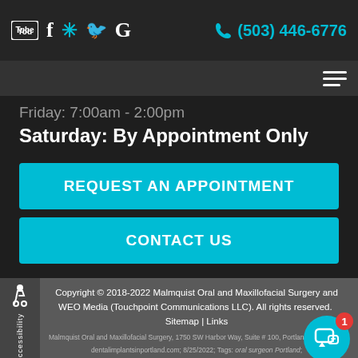YouTube | Facebook | Yelp | Twitter | Google | (503) 446-6776
Friday: 7:00am - 2:00pm
Saturday: By Appointment Only
REQUEST AN APPOINTMENT
CONTACT US
Copyright © 2018-2022 Malmquist Oral and Maxillofacial Surgery and WEO Media (Touchpoint Communications LLC). All rights reserved.  Sitemap | Links
Malmquist Oral and Maxillofacial Surgery, 1750 SW Harbor Way, Suite # 100, Portland, OR. 97201
dentalimplantsinportland.com; 8/25/2022; Tags: oral surgeon Portland;